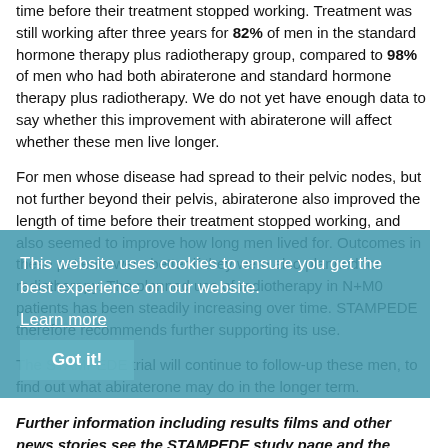time before their treatment stopped working. Treatment was still working after three years for 82% of men in the standard hormone therapy plus radiotherapy group, compared to 98% of men who had both abiraterone and standard hormone therapy plus radiotherapy. We do not yet have enough data to say whether this improvement with abiraterone will affect whether these men live longer.
For men whose disease had spread to their pelvic nodes, but not further beyond their pelvis, abiraterone also improved the length of time before their treatment stopped working, and also seemed to improve how long men lived for. Outcomes in these patients were better if they were also planned for radiotherapy. The planned use of radiotherapy in N+M0 patients has been steadily increasing over time. STAMPEDE therefore recommends further supporting its use.
The STAMPEDE trial will continue to follow-up these men, to find out what abiraterone may do in the longer term.
Further information including results films and other news stories see the STAMPEDE study page and the STOPCaP study page.